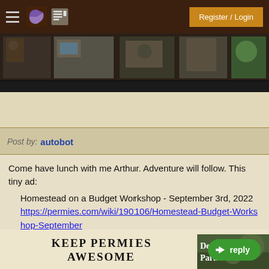Register / Login
[Figure (photo): Website navigation header with hamburger menu, pie icon, and news icon on dark brown background. Below is a photo strip showing a workshop or studio interior scene.]
Post by: autobot
Come have lunch with me Arthur. Adventure will follow. This tiny ad:
Homestead on a Budget Workshop - September 3rd, 2022
https://permies.com/wiki/190106/Homestead-Budget-Workshop-September
[Figure (illustration): Keep Permies Awesome text logo in bold serif font with a purple circle below]
[Figure (photo): Desert Paradise book or advertisement image with white text on nature background]